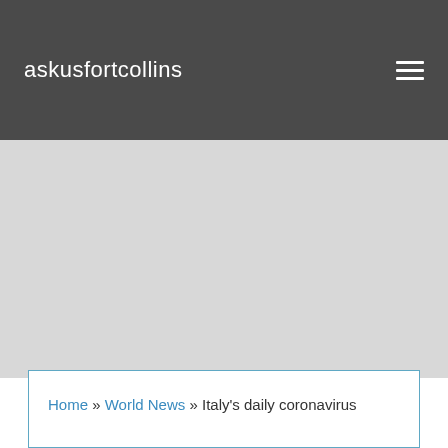askusfortcollins
[Figure (other): Advertisement / empty gray area]
Home » World News » Italy's daily coronavirus